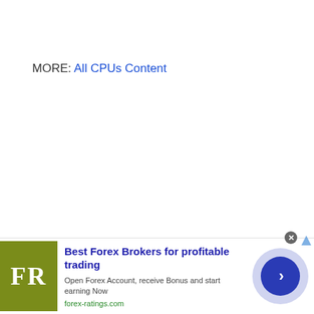MORE: All CPUs Content
[Figure (infographic): Advertisement banner for forex-ratings.com. FR logo in olive/yellow-green square on the left. Headline: Best Forex Brokers for profitable trading. Subtext: Open Forex Account, receive Bonus and start earning Now. URL: forex-ratings.com. Blue circle with right-arrow chevron on the right. Close button (X) top right.]